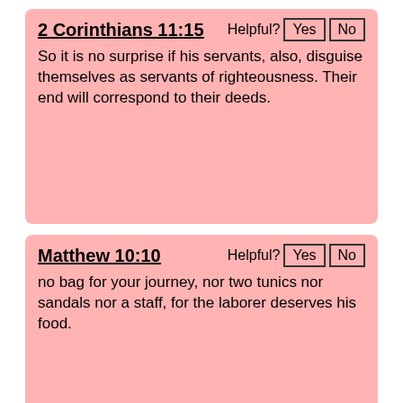2 Corinthians 11:15 Helpful? Yes No
So it is no surprise if his servants, also, disguise themselves as servants of righteousness. Their end will correspond to their deeds.
Matthew 10:10 Helpful? Yes No
no bag for your journey, nor two tunics nor sandals nor a staff, for the laborer deserves his food.